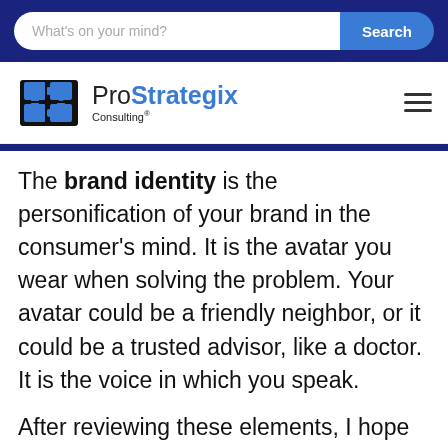What's on your mind? Search
[Figure (logo): ProStrategix Consulting logo with puzzle piece icon and hamburger menu icon]
The brand identity is the personification of your brand in the consumer's mind. It is the avatar you wear when solving the problem. Your avatar could be a friendly neighbor, or it could be a trusted advisor, like a doctor. It is the voice in which you speak.
After reviewing these elements, I hope that is clear why these are so important